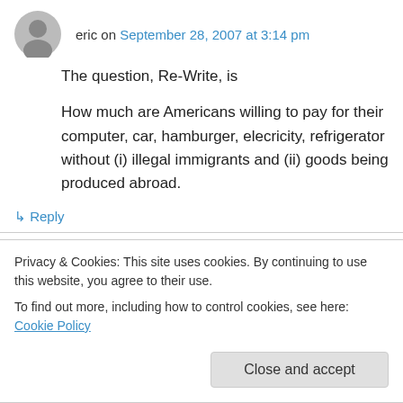eric on September 28, 2007 at 3:14 pm
The question, Re-Write, is

How much are Americans willing to pay for their computer, car, hamburger, elecricity, refrigerator without (i) illegal immigrants and (ii) goods being produced abroad.
↳ Reply
James on September 28, 2007 at 3:58 pm
Privacy & Cookies: This site uses cookies. By continuing to use this website, you agree to their use.
To find out more, including how to control cookies, see here: Cookie Policy
Close and accept
Fallacious. Everything in the Universe defines